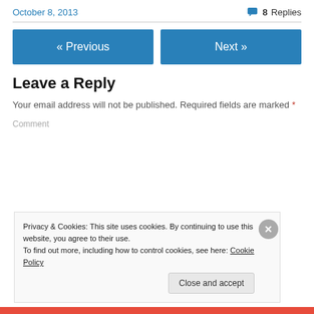October 8, 2013   8 Replies
« Previous   Next »
Leave a Reply
Your email address will not be published. Required fields are marked *
Privacy & Cookies: This site uses cookies. By continuing to use this website, you agree to their use. To find out more, including how to control cookies, see here: Cookie Policy
Close and accept